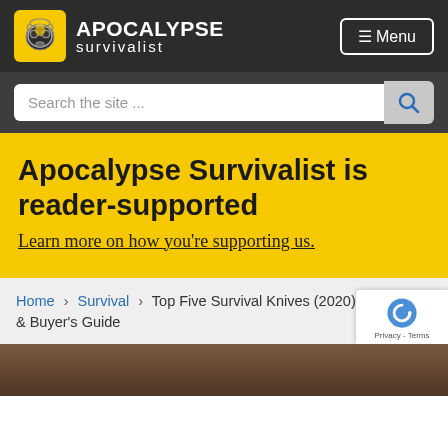APOCALYPSE survivalist — Menu
Search the site ...
Apocalypse Survivalist is reader-supported
Learn more on how you're supporting us.
Home > Survival > Top Five Survival Knives (2020) – Reviews & Buyer's Guide